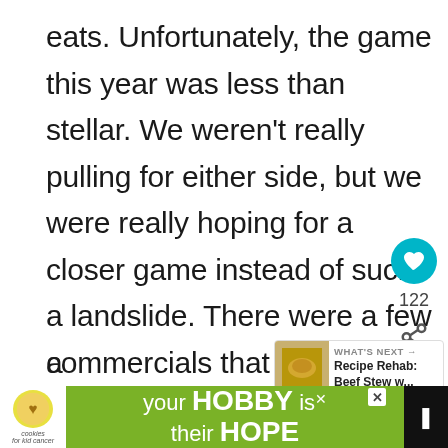eats. Unfortunately, the game this year was less than stellar. We weren't really pulling for either side, but we were really hoping for a closer game instead of such a landslide. There were a few commercials that were okay like the puppy and Clydesdale horse for Budweiser and the dog and little boy Doritos commercial. The highlight of ou Super Bowl party, though, was h few friends over and enjoy all the food
[Figure (screenshot): Like button (heart icon in teal circle) with count 122 and share icon]
[Figure (screenshot): What's Next promo box: Recipe Rehab: Beef Stew w...]
a
[Figure (screenshot): Advertisement banner: cookies for kid cancer logo, 'your HOBBY is their HOPE' on green background with close button, speaker icon]